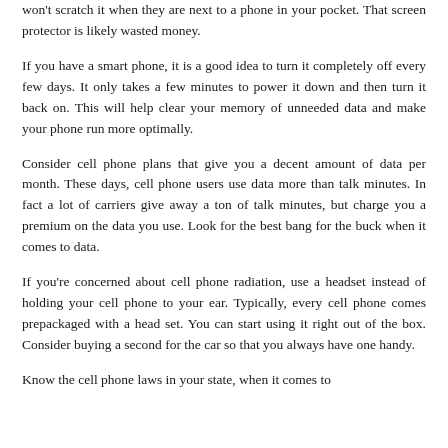won't scratch it when they are next to a phone in your pocket. That screen protector is likely wasted money.
If you have a smart phone, it is a good idea to turn it completely off every few days. It only takes a few minutes to power it down and then turn it back on. This will help clear your memory of unneeded data and make your phone run more optimally.
Consider cell phone plans that give you a decent amount of data per month. These days, cell phone users use data more than talk minutes. In fact a lot of carriers give away a ton of talk minutes, but charge you a premium on the data you use. Look for the best bang for the buck when it comes to data.
If you're concerned about cell phone radiation, use a headset instead of holding your cell phone to your ear. Typically, every cell phone comes prepackaged with a head set. You can start using it right out of the box. Consider buying a second for the car so that you always have one handy.
Know the cell phone laws in your state, when it comes to